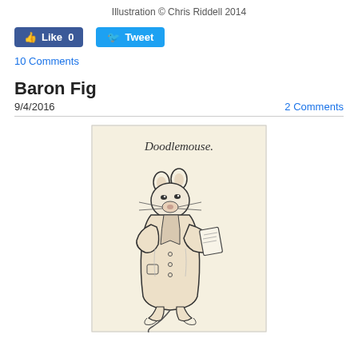Illustration © Chris Riddell 2014
[Figure (other): Facebook Like button (0 likes) and Twitter Tweet button]
10 Comments
Baron Fig
9/4/2016
2 Comments
[Figure (illustration): A sketch of a mouse character in a long coat, labeled 'Doodlemouse.' at the top, holding what appears to be a book or paper. The illustration is drawn in ink on cream/beige notebook paper.]